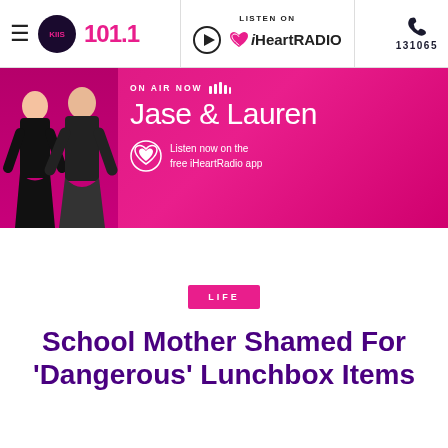KIIS 101.1 | LISTEN ON iHeartRADIO | 131065
[Figure (screenshot): KIIS 101.1 radio website banner showing hosts Jase & Lauren on a pink/magenta background with iHeartRadio listen now prompt]
LIFE
School Mother Shamed For 'Dangerous' Lunchbox Items